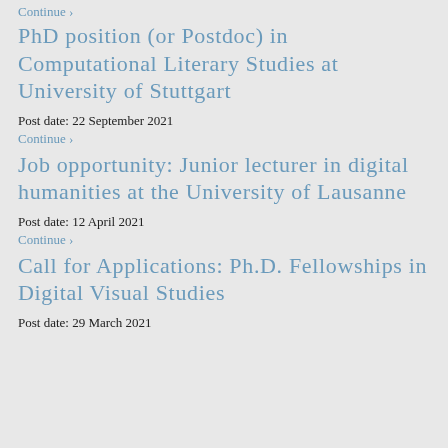Continue ›
PhD position (or Postdoc) in Computational Literary Studies at University of Stuttgart
Post date: 22 September 2021
Continue ›
Job opportunity: Junior lecturer in digital humanities at the University of Lausanne
Post date: 12 April 2021
Continue ›
Call for Applications: Ph.D. Fellowships in Digital Visual Studies
Post date: 29 March 2021